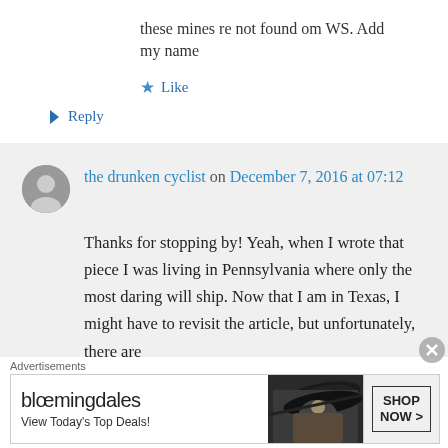these mines re not found om WS. Add my name
★ Like
↪ Reply
the drunken cyclist on December 7, 2016 at 07:12
Thanks for stopping by! Yeah, when I wrote that piece I was living in Pennsylvania where only the most daring will ship. Now that I am in Texas, I might have to revisit the article, but unfortunately, there are
[Figure (screenshot): Bloomingdale's advertisement banner with 'View Today's Top Deals!' text and 'SHOP NOW >' button, featuring a woman with a wide-brim hat]
Advertisements